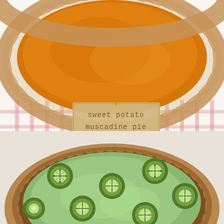[Figure (photo): Close-up photo of a sweet potato muscadine pie in a glass pie dish on a red and white checkered cloth, with a tan cardstock label reading 'sweet potato muscadine pie' in stamped typewriter font]
April's (of Farmer's Daughter) Sweet Potato Muscadine Pie
[Figure (photo): Close-up photo of a pie with green avocado or kiwi cream filling topped with sliced kiwi rounds, in a fluted brown tart pan on a white surface]